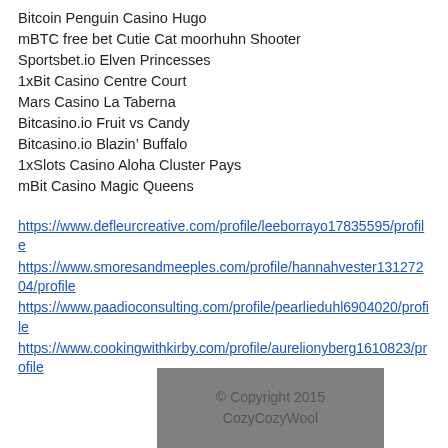Bitcoin Penguin Casino Hugo
mBTC free bet Cutie Cat moorhuhn Shooter
Sportsbet.io Elven Princesses
1xBit Casino Centre Court
Mars Casino La Taberna
Bitcasino.io Fruit vs Candy
Bitcasino.io Blazin’ Buffalo
1xSlots Casino Aloha Cluster Pays
mBit Casino Magic Queens
https://www.defleurcreative.com/profile/leeborrayo17835595/profile
https://www.smoresandmeeples.com/profile/hannahvester13127204/profile
https://www.paadioconsulting.com/profile/pearlieduhl6904020/profile
https://www.cookingwithkirby.com/profile/aurelionyberg1610823/profile
© Copyright 2015
CozyCozyWool